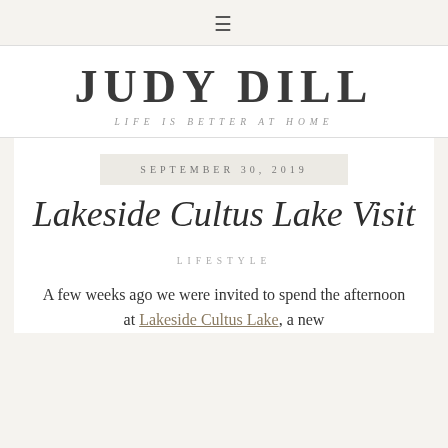≡
JUDY DILL
LIFE IS BETTER AT HOME
SEPTEMBER 30, 2019
Lakeside Cultus Lake Visit
LIFESTYLE
A few weeks ago we were invited to spend the afternoon at Lakeside Cultus Lake, a new